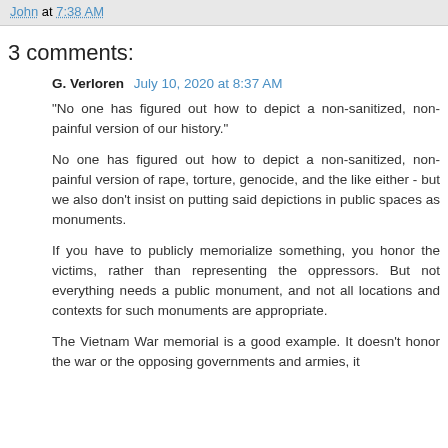John at 7:38 AM
3 comments:
G. Verloren   July 10, 2020 at 8:37 AM
"No one has figured out how to depict a non-sanitized, non-painful version of our history."
No one has figured out how to depict a non-sanitized, non-painful version of rape, torture, genocide, and the like either - but we also don't insist on putting said depictions in public spaces as monuments.
If you have to publicly memorialize something, you honor the victims, rather than representing the oppressors. But not everything needs a public monument, and not all locations and contexts for such monuments are appropriate.
The Vietnam War memorial is a good example. It doesn't honor the war or the opposing governments and armies, it